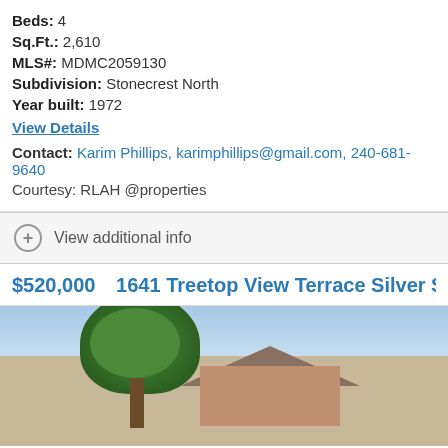Beds: 4
Sq.Ft.: 2,610
MLS#: MDMC2059130
Subdivision: Stonecrest North
Year built: 1972
View Details
Contact: Karim Phillips, karimphillips@gmail.com, 240-681-9640
Courtesy: RLAH @properties
View additional info
$520,000   1641 Treetop View Terrace Silver Spring, MD 2
[Figure (photo): Exterior photo of a house at 1641 Treetop View Terrace, Silver Spring MD, showing a large tree in the foreground with the house facade visible behind it under a blue sky.]